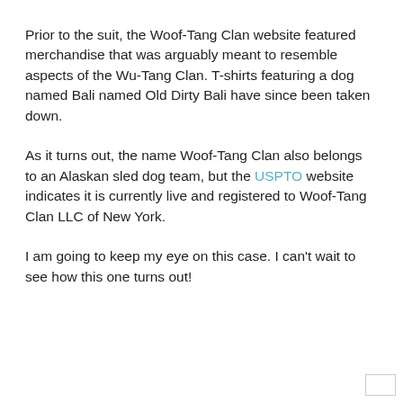Prior to the suit, the Woof-Tang Clan website featured merchandise that was arguably meant to resemble aspects of the Wu-Tang Clan. T-shirts featuring a dog named Bali named Old Dirty Bali have since been taken down.
As it turns out, the name Woof-Tang Clan also belongs to an Alaskan sled dog team, but the USPTO website indicates it is currently live and registered to Woof-Tang Clan LLC of New York.
I am going to keep my eye on this case. I can't wait to see how this one turns out!